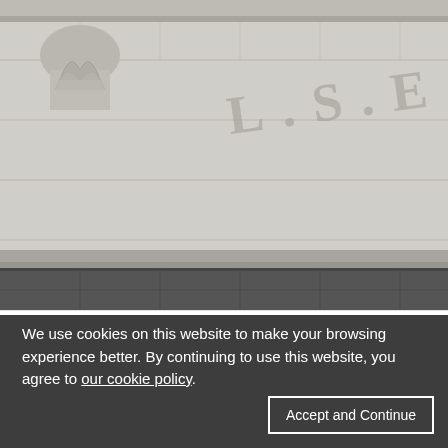[Figure (photo): Exterior stone facade of an LSE (London School of Economics) building showing classical architectural details and lettering 'L.S.E.' carved in stone]
Additional information Our policy on providing additional details to support your application
We use cookies on this website to make your browsing experience better. By continuing to use this website, you agree to our cookie policy.